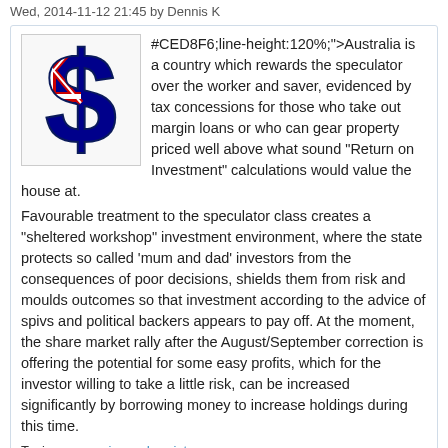Wed, 2014-11-12 21:45 by Dennis K
[Figure (illustration): Australian dollar sign ($) with Australian flag colors - blue with red and white Union Jack pattern, 3D style illustration]
#CED8F6;line-height:120%;">Australia is a country which rewards the speculator over the worker and saver, evidenced by tax concessions for those who take out margin loans or who can gear property priced well above what sound "Return on Investment" calculations would value the house at. Favourable treatment to the speculator class creates a "sheltered workshop" investment environment, where the state protects so called 'mum and dad' investors from the consequences of poor decisions, shields them from risk and moulds outcomes so that investment according to the advice of spivs and political backers appears to pay off. At the moment, the share market rally after the August/September correction is offering the potential for some easy profits, which for the investor willing to take a little risk, can be increased significantly by borrowing money to increase holdings during this time.
Topic:  economics and society
Read more
Modern Economic Paradoxes